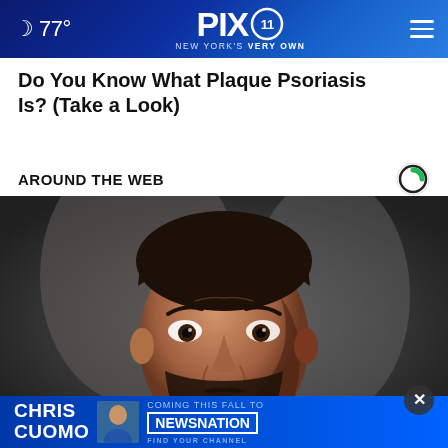77° PIX11 NEW YORK'S VERY OWN
Do You Know What Plaque Psoriasis Is? (Take a Look)
AROUND THE WEB
[Figure (photo): Dark-haired bearded man with worried/contemplative expression, hand raised to chin, blurred grey background]
[Figure (infographic): Advertisement banner: CHRIS CUOMO COMING THIS FALL TO NEWSNATION FIND YOUR CHANNEL]